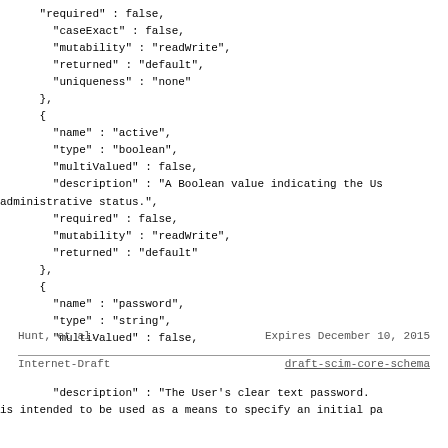"required" : false,
        "caseExact" : false,
        "mutability" : "readWrite",
        "returned" : "default",
        "uniqueness" : "none"
      },
      {
        "name" : "active",
        "type" : "boolean",
        "multiValued" : false,
        "description" : "A Boolean value indicating the Us
administrative status.",
        "required" : false,
        "mutability" : "readWrite",
        "returned" : "default"
      },
      {
        "name" : "password",
        "type" : "string",
        "multiValued" : false,
Hunt, et al.                Expires December 10, 2015
Internet-Draft              draft-scim-core-schema
"description" : "The User's clear text password.
is intended to be used as a means to specify an initial pa